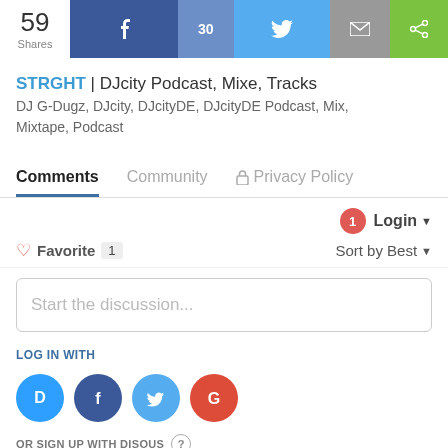[Figure (screenshot): Social share bar with 59 shares, Facebook (30), Twitter, Email, and general share buttons]
STRGHT | DJcity Podcast, Mixe, Tracks
DJ G-Dugz, DJcity, DJcityDE, DJcityDE Podcast, Mix, Mixtape, Podcast
Comments  Community  Privacy Policy
Login
Favorite 1   Sort by Best
Start the discussion...
LOG IN WITH
[Figure (screenshot): Login icons: Disqus (blue D), Facebook (dark blue f), Twitter (light blue bird), Google (red G)]
OR SIGN UP WITH DISQUS ?